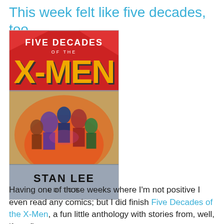This week felt like five decades, too...
[Figure (illustration): Book cover of 'Five Decades of the X-Men' edited by Stan Lee. Features bold yellow and black X-Men logo on a red background at the top, with illustrated X-Men characters in dynamic poses on a gray/blue lower section. Bottom shows 'STAN LEE EDITOR' in black text on gray background.]
Having one of those weeks where I'm not positive I even read any comics; but I did finish Five Decades of the X-Men, a fun little anthology with stories from, well, if not five